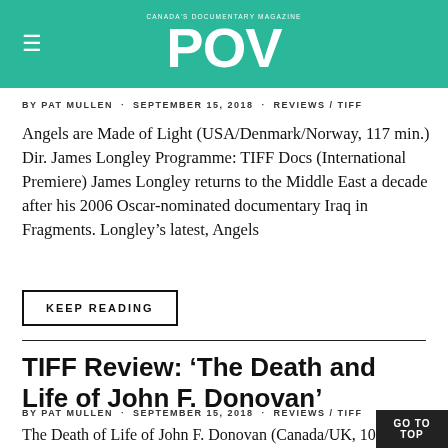CANADA'S DOCUMENTARY MAGAZINE POV
BY PAT MULLEN · SEPTEMBER 15, 2018 · REVIEWS / TIFF
Angels are Made of Light (USA/Denmark/Norway, 117 min.) Dir. James Longley Programme: TIFF Docs (International Premiere) James Longley returns to the Middle East a decade after his 2006 Oscar-nominated documentary Iraq in Fragments. Longley's latest, Angels
KEEP READING
TIFF Review: 'The Death and Life of John F. Donovan'
BY PAT MULLEN · SEPTEMBER 15, 2018 · REVIEWS / TIFF
The Death of Life of John F. Donovan (Canada/UK, 107 min.) Dir. Xavier Dolan, Writ. Xavier Dolan, Jacob Tierney, Stacey Alt. Man. director: Jacob Tremblay